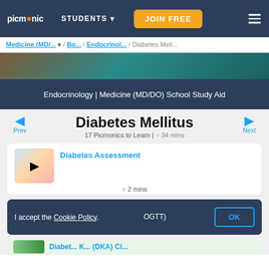picmonic | STUDENTS | JOIN FREE
Medicine (MD/... / Bo... / Endocrinol... / Diabetes Mell...
[Figure (screenshot): Hero banner image with illustrated characters]
Endocrinology | Medicine (MD/DO) School Study Aid
Diabetes Mellitus
17 Picmonics to Learn | ⊙ 34 mins
Diabetes Assessment
⊙ 2 mins
OGTT)
I accept the Cookie Policy.
OK